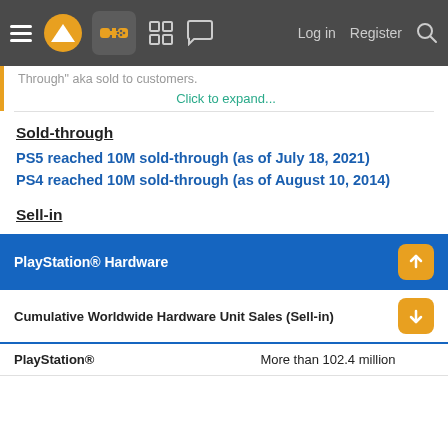Navigation bar with menu, logo, controller icon, grid, chat, Log in, Register, Search
Through" aka sold to customers.
Click to expand...
Sold-through
PS5 reached 10M sold-through (as of July 18, 2021)
PS4 reached 10M sold-through (as of August 10, 2014)
Sell-in
| PlayStation® Hardware |  |
| --- | --- |
| Cumulative Worldwide Hardware Unit Sales (Sell-in) |  |
| PlayStation® | More than 102.4 million |
PlayStation® Hardware table header